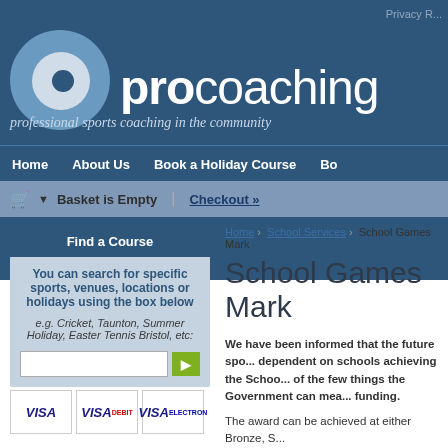Privacy R...
[Figure (logo): Procoaching logo with circular blue icon and text 'procoaching']
professional sports coaching in the community
Home | About Us | Book a Holiday Course | Bo...
Basket is Empty | Checkout
Find a Course
You can search for specific sports, venues, locations or holidays using the box below
e.g. Cricket, Taunton, Summer Holiday, Easter Tennis Bristol, etc:
Home > School Services > School Games Mark
School Games Mark
We have been informed that the future spo... dependent on schools achieving the Schoo... of the few things the Government can mea... funding.
The award can be achieved at either Bronze, S...
We are supporting schools to achieve their s... mark by clicking here.
Achieving GAMES MARK is broken down into ...
Participation
Participation is about the school being able to...